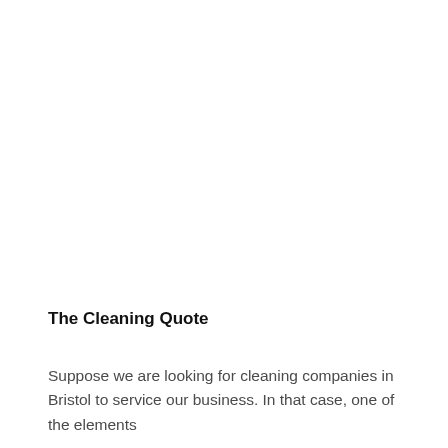The Cleaning Quote
Suppose we are looking for cleaning companies in Bristol to service our business. In that case, one of the elements